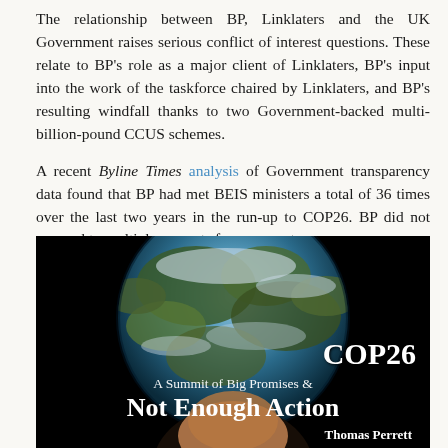The relationship between BP, Linklaters and the UK Government raises serious conflict of interest questions. These relate to BP's role as a major client of Linklaters, BP's input into the work of the taskforce chaired by Linklaters, and BP's resulting windfall thanks to two Government-backed multi-billion-pound CCUS schemes.
A recent Byline Times analysis of Government transparency data found that BP had met BEIS ministers a total of 36 times over the last two years in the run-up to COP26. BP did not respond to multiple requests for comment.
[Figure (photo): Book cover image with dark background showing a globe and a person's face beneath it. Text overlay reads: COP26 / A Summit of Big Promises & Not Enough Action / Thomas Perrett]